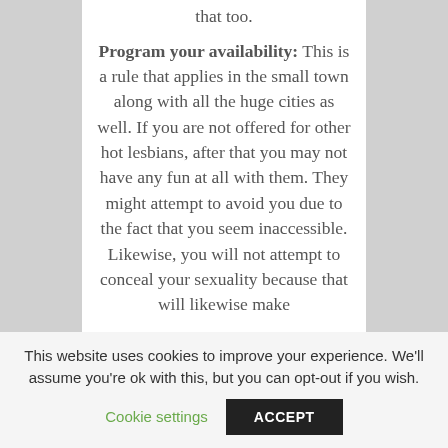...that might be a good option if that too.
Program your availability: This is a rule that applies in the small town along with all the huge cities as well. If you are not offered for other hot lesbians, after that you may not have any fun at all with them. They might attempt to avoid you due to the fact that you seem inaccessible. Likewise, you will not attempt to conceal your sexuality because that will likewise make
This website uses cookies to improve your experience. We'll assume you're ok with this, but you can opt-out if you wish.
Cookie settings
ACCEPT